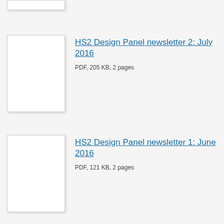[Figure (other): Partial thumbnail of a document, top portion visible]
HS2 Design Panel newsletter 2: July 2016
PDF, 205 KB, 2 pages
[Figure (other): Blank white thumbnail of a document]
HS2 Design Panel newsletter 1: June 2016
PDF, 121 KB, 2 pages
[Figure (other): Blank white thumbnail of a document]